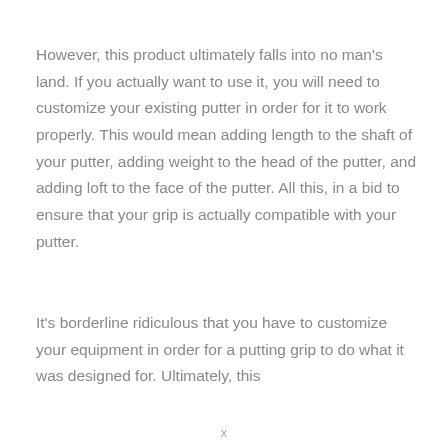However, this product ultimately falls into no man's land. If you actually want to use it, you will need to customize your existing putter in order for it to work properly. This would mean adding length to the shaft of your putter, adding weight to the head of the putter, and adding loft to the face of the putter. All this, in a bid to ensure that your grip is actually compatible with your putter.
It's borderline ridiculous that you have to customize your equipment in order for a putting grip to do what it was designed for. Ultimately, this
x